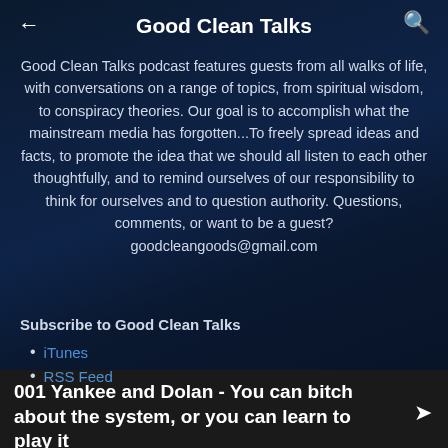Good Clean Talks
Good Clean Talks podcast features guests from all walks of life, with conversations on a range of topics, from spiritual wisdom, to conspiracy theories. Our goal is to accomplish what the mainstream media has forgotten...To freely spread ideas and facts, to promote the idea that we should all listen to each other thoughtfully, and to remind ourselves of our responsibility to think for ourselves and to question authority. Questions, comments, or want to be a guest? goodcleangoods@gmail.com
Subscribe to Good Clean Talks
iTunes
RSS Feed
001 Yankee and Dolan - You can bitch about the system, or you can learn to play it